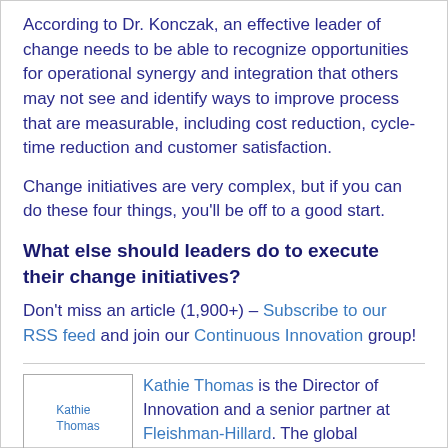According to Dr. Konczak, an effective leader of change needs to be able to recognize opportunities for operational synergy and integration that others may not see and identify ways to improve process that are measurable, including cost reduction, cycle-time reduction and customer satisfaction.
Change initiatives are very complex, but if you can do these four things, you'll be off to a good start.
What else should leaders do to execute their change initiatives?
Don't miss an article (1,900+) – Subscribe to our RSS feed and join our Continuous Innovation group!
[Figure (photo): Placeholder image labeled Kathie Thomas]
Kathie Thomas is the Director of Innovation and a senior partner at Fleishman-Hillard. The global Innovation practice group Kathie leads offers proven tools and approaches for helping organizations and teams inject a new level of innovation and productivity into their strategic planning and program development.